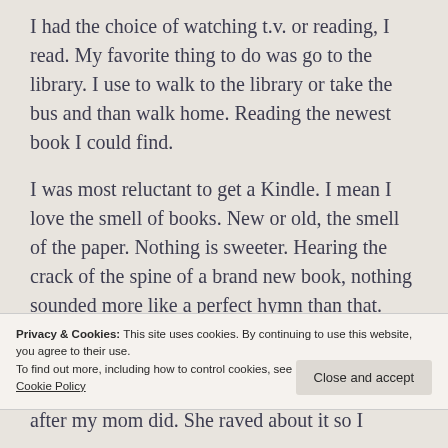I had the choice of watching t.v. or reading, I read. My favorite thing to do was go to the library. I use to walk to the library or take the bus and than walk home. Reading the newest book I could find.
I was most reluctant to get a Kindle. I mean I love the smell of books. New or old, the smell of the paper. Nothing is sweeter. Hearing the crack of the spine of a brand new book, nothing sounded more like a perfect hymn than that.
Privacy & Cookies: This site uses cookies. By continuing to use this website, you agree to their use.
To find out more, including how to control cookies, see here:
Cookie Policy
after my mom did. She raved about it so I